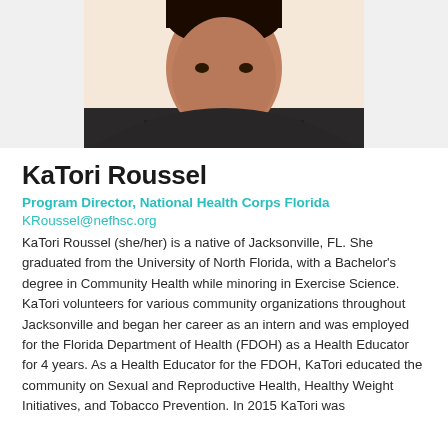[Figure (photo): Portrait photo of KaTori Roussel, a woman wearing a dark sleeveless top and a pearl/white necklace, cropped to show head and upper torso]
KaTori Roussel
Program Director, National Health Corps Florida
KRoussel@nefhsc.org
KaTori Roussel (she/her) is a native of Jacksonville, FL. She graduated from the University of North Florida, with a Bachelor's degree in Community Health while minoring in Exercise Science. KaTori volunteers for various community organizations throughout Jacksonville and began her career as an intern and was employed for the Florida Department of Health (FDOH) as a Health Educator for 4 years. As a Health Educator for the FDOH, KaTori educated the community on Sexual and Reproductive Health, Healthy Weight Initiatives, and Tobacco Prevention. In 2015 KaTori was